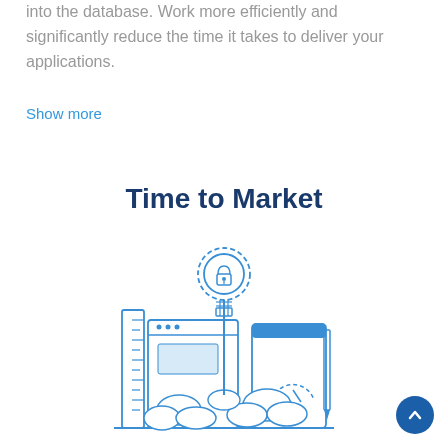into the database. Work more efficiently and significantly reduce the time it takes to deliver your applications.
Show more
Time to Market
[Figure (illustration): Blue line illustration of a rocket launch concept with a lightbulb containing a lock icon launching upward, surrounded by browser windows, a ruler, a pencil, clouds of smoke, and a speedometer, all in blue outline style on white background.]